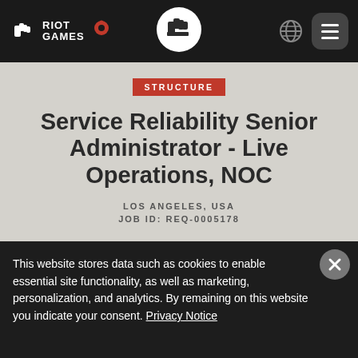Riot Games navigation bar with logo, location pin, globe icon, and menu icon
STRUCTURE
Service Reliability Senior Administrator - Live Operations, NOC
LOS ANGELES, USA
JOB ID: REQ-0005178
This website stores data such as cookies to enable essential site functionality, as well as marketing, personalization, and analytics. By remaining on this website you indicate your consent. Privacy Notice